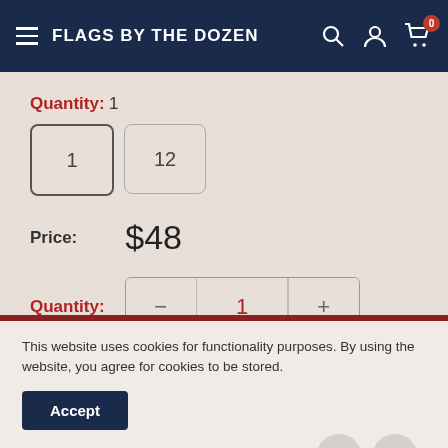FLAGS BY THE DOZEN
Quantity: 1
1  12
Price: $48
Quantity: 1
This website uses cookies for functionality purposes. By using the website, you agree for cookies to be stored.
Accept